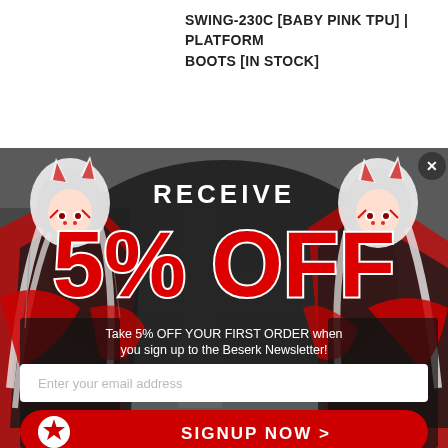SWING-230C [BABY PINK TPU] | PLATFORM BOOTS [IN STOCK]
[Figure (illustration): Promotional popup overlay with anime-style kitsune (fox demon) character illustrations on left and right sides against a dark grey background, with a dark oval center containing promotional text. Features a close button (×) in the top right corner.]
RECEIVE
5% OFF
Take 5% OFF YOUR FIRST ORDER when you sign up to the Beserk Newsletter!
Enter your email address
SIGNUP NOW >